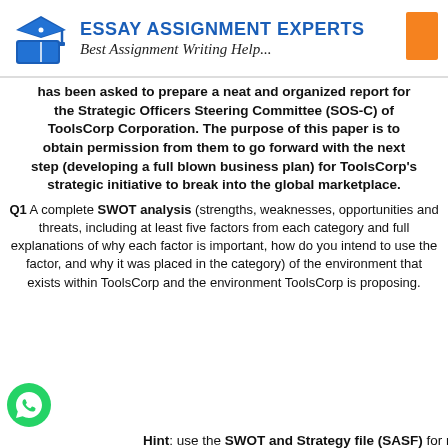[Figure (logo): Essay Assignment Experts logo with graduation cap icon, blue text header 'ESSAY ASSIGNMENT EXPERTS', italic subtitle 'Best Assignment Writing Help...', and an orange rectangle on the right]
has been asked to prepare a neat and organized report for the Strategic Officers Steering Committee (SOS-C) of ToolsCorp Corporation. The purpose of this paper is to obtain permission from them to go forward with the next step (developing a full blown business plan) for ToolsCorp's strategic initiative to break into the global marketplace.
Q1 A complete SWOT analysis (strengths, weaknesses, opportunities and threats, including at least five factors from each category and full explanations of why each factor is important, how do you intend to use the factor, and why it was placed in the category) of the environment that exists within ToolsCorp and the environment ToolsCorp is proposing.
Hint: use the SWOT and Strategy file (SASF) for reference,